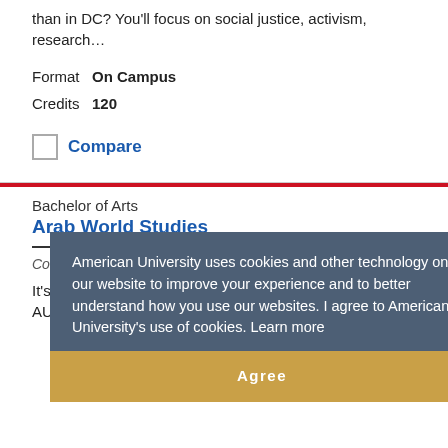than in DC? You'll focus on social justice, activism, research…
Format  On Campus
Credits  120
Compare
Bachelor of Arts
Arab World Studies
College of Arts & Sciences
It's an exciting time to study the Arab World, especially at AU. You'll get a comprehensive view
American University uses cookies and other technology on our website to improve your experience and to better understand how you use our websites. I agree to American University's use of cookies. Learn more
Agree